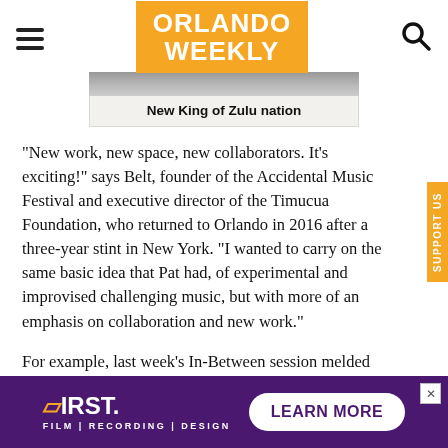ORLANDO WEEKLY
[Figure (photo): Partial image visible at top, cropped]
New King of Zulu nation
"New work, new space, new collaborators. It's exciting!" says Belt, founder of the Accidental Music Festival and executive director of the Timucua Foundation, who returned to Orlando in 2016 after a three-year stint in New York. "I wanted to carry on the same basic idea that Pat had, of experimental and improvised challenging music, but with more of an emphasis on collaboration and new work."
For example, last week's In-Between session melded
[Figure (other): Advertisement banner: FIRST - FILM | RECORDING | DESIGN - LEARN MORE, purple background]